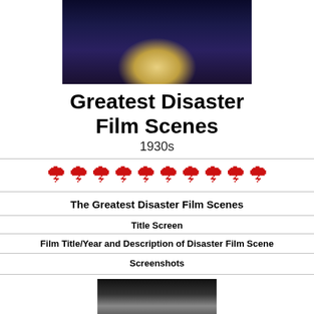[Figure (photo): Nighttime photo of a grand building (White House-like structure) with columns, illuminated dramatically with storm lighting]
Greatest Disaster Film Scenes
1930s
[Figure (illustration): Row of 10 red lightning bolt emoji symbols]
The Greatest Disaster Film Scenes
Title Screen
Film Title/Year and Description of Disaster Film Scene
Screenshots
[Figure (photo): Black and white screenshot from a 1930s film, partially visible at bottom of page]